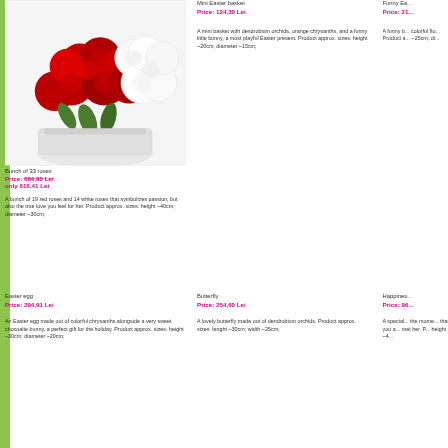[Figure (photo): Bunch of 33 roses - red and white roses arranged in a white container]
Bunch of 33 roses
Price: 684,90 Lei
only 616,41 Lei
A bunch of 19 red roses and 14 white roses that symbolizes passion, but also the true love you feel for her. Product approx. sizes: height ~40cm; diameter ~30cm;
Mini Easter basket
Price: 124,30 Lei
A mini basket with dendrobium orchids, orange chrysanths, and a funny little bunny, a most playful Easter present. Product approx. sizes: height ~20cm; diameter ~15cm;
Funny Ea...
Price: 21...
A funny b... colorful flo... Product a... ~25cm; di...
.
Easter egg
Price: 294,91 Lei
An Easter egg made out of colorful chrysanths alongside a very sweet chocoalte bunny, a perfect gift for the holiday. Product approx. sizes: height ~30cm; diameter ~20cm;
.
Butterfly
Price: 254,60 Lei
A lovely butterfly made out of dendrobium orchids. Product approx. sizes: lenght ~30cm; width ~25cm;
.
Happines...
Price: 96...
A special... the mome... that you a... met her. P... height ~4...